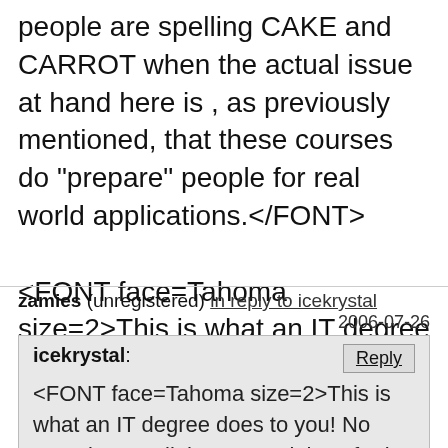people are spelling CAKE and CARROT when the actual issue at hand here is , as previously mentioned, that these courses do "prepare" people for real world applications.</FONT>

<FONT face=Tahoma size=2>This is what an IT degree does to you! No experience, all theory. Look how far it gets them! </FONT>
zamies (unregistered) in reply to icekrystal 2006-07-26
icekrystal: <FONT face=Tahoma size=2>This is what an IT degree does to you! No experience, all theory. Look how far it